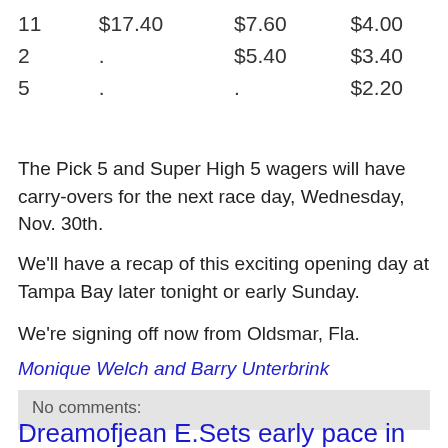| 11 | $17.40 | $7.60 | $4.00 |
| 2 | . | $5.40 | $3.40 |
| 5 | . | . | $2.20 |
The Pick 5 and Super High 5 wagers will have carry-overs for the next race day, Wednesday, Nov. 30th.
We'll have a recap of this exciting opening day at Tampa Bay later tonight or early Sunday.
We're signing off now from Oldsmar, Fla.
Monique Welch and Barry Unterbrink
No comments:
Dreamofjean E.Sets early pace in 2nd